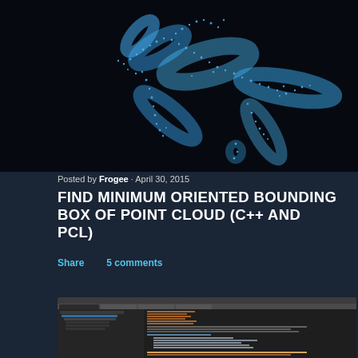[Figure (photo): Blue point cloud 3D visualization of what appears to be a blood vessel or branching structure on a black background]
Posted by Frogee · April 30, 2015
FIND MINIMUM ORIENTED BOUNDING BOX OF POINT CLOUD (C++ AND PCL)
Share    5 comments
[Figure (screenshot): IDE screenshot showing C++ code for finding minimum oriented bounding box of point cloud, with project tree on left and code editor on right]